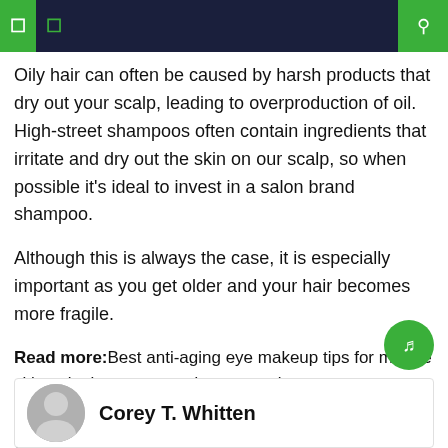Navigation bar with menu icons and search
Oily hair can often be caused by harsh products that dry out your scalp, leading to overproduction of oil. High-street shampoos often contain ingredients that irritate and dry out the skin on our scalp, so when possible it's ideal to invest in a salon brand shampoo.
Although this is always the case, it is especially important as you get older and your hair becomes more fragile.
Read more:Best anti-aging eye makeup tips for mature skin to look younger and more awake
Read more:Makeup artist Jade Mullett's top anti-aging concealer tips for younger, brighter skin
Corey T. Whitten